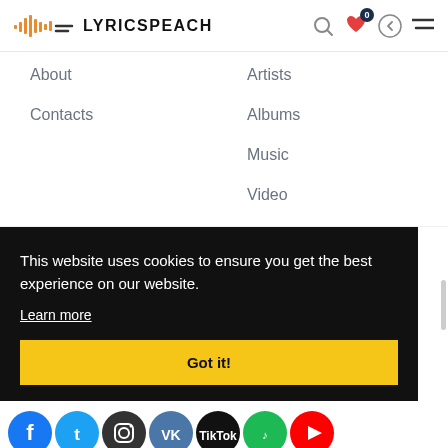LYRICSPEACH
About
Contacts
Artists
Albums
Music
Video
This website uses cookies to ensure you get the best experience on our website.
Learn more
Got it!
[Figure (infographic): Social media icons row: Facebook, Twitter, Instagram, VK, TikTok, Spotify, YouTube]